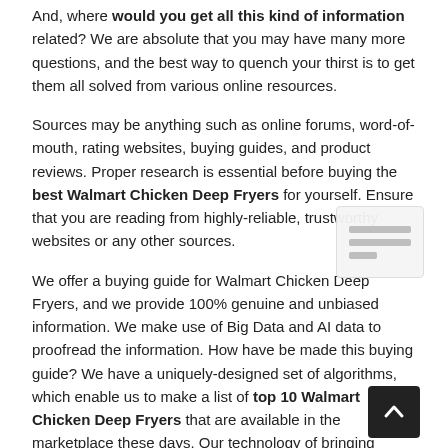And, where would you get all this kind of information related? We are absolute that you may have many more questions, and the best way to quench your thirst is to get them all solved from various online resources.
Sources may be anything such as online forums, word-of-mouth, rating websites, buying guides, and product reviews. Proper research is essential before buying the best Walmart Chicken Deep Fryers for yourself. Ensure that you are reading from highly-reliable, trustworthy websites or any other sources.
We offer a buying guide for Walmart Chicken Deep Fryers, and we provide 100% genuine and unbiased information. We make use of Big Data and AI data to proofread the information. How have be made this buying guide? We have a uniquely-designed set of algorithms, which enable us to make a list of top 10 Walmart Chicken Deep Fryers that are available in the marketplace these days. Our technology of bringing together a list depends on the factors such as: